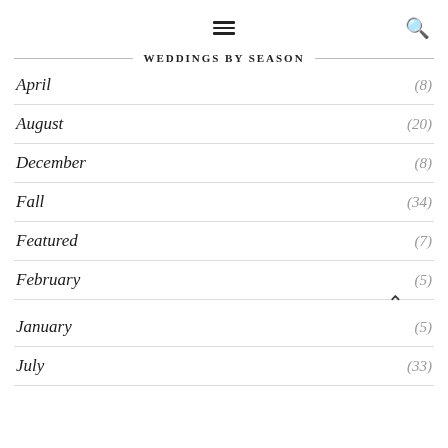≡  🔍
WEDDINGS BY SEASON
April (8)
August (20)
December (8)
Fall (34)
Featured (7)
February (5)
January (5)
July (33)